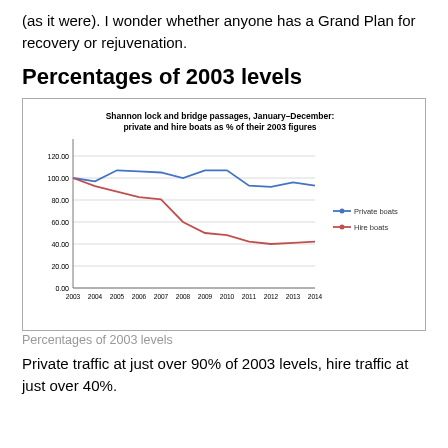(as it were). I wonder whether anyone has a Grand Plan for recovery or rejuvenation.
Percentages of 2003 levels
[Figure (line-chart): Shannon lock and bridge passages, January–December: private and hire boats as % of their 2003 figures]
Percentages of 2003 levels
Private traffic at just over 90% of 2003 levels, hire traffic at just over 40%.